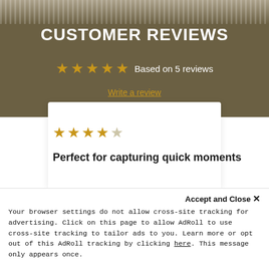CUSTOMER REVIEWS
★★★★★ Based on 5 reviews
Write a review
[Figure (other): 4 out of 5 stars rating for a customer review]
Perfect for capturing quick moments
Ian Stravers on Apr 11, 2022
Bought this for a trip through Utah knowing
Accept and Close ×
Your browser settings do not allow cross-site tracking for advertising. Click on this page to allow AdRoll to use cross-site tracking to tailor ads to you. Learn more or opt out of this AdRoll tracking by clicking here. This message only appears once.